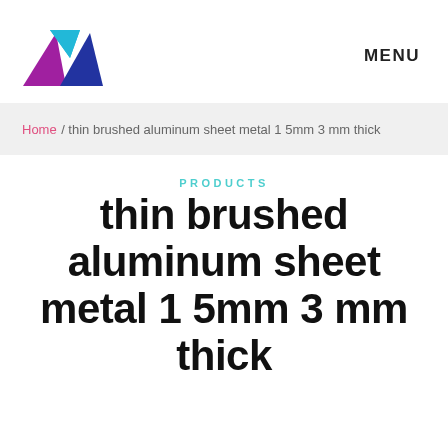[Figure (logo): Triangular logo composed of three colored triangles: cyan/blue, purple/magenta, and dark blue, arranged to form a mountain shape]
MENU
Home / thin brushed aluminum sheet metal 1 5mm 3 mm thick
PRODUCTS
thin brushed aluminum sheet metal 1 5mm 3 mm thick